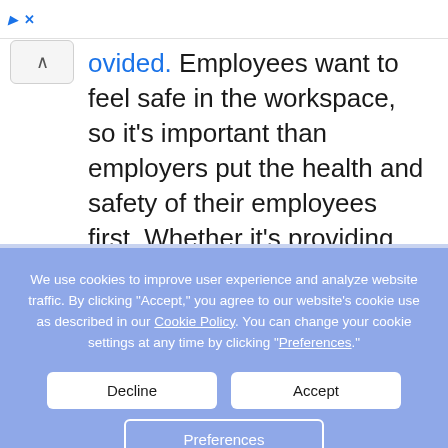[Figure (screenshot): Ad close button bar with blue ad icon and X close symbol at the top of the page]
[Figure (screenshot): Collapse/chevron up button widget on the left side]
ovided. Employees want to feel safe in the workspace, so it's important than employers put the health and safety of their employees first. Whether it's providing masks and goggles or protective screens between desks.
We use cookies to improve user experience and analyze website traffic. By clicking “Accept,” you agree to our website’s cookie use as described in our Cookie Policy. You can change your cookie settings at any time by clicking “Preferences.”
Decline
Accept
Preferences